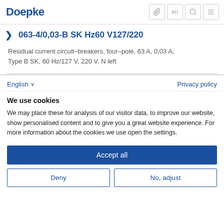Doepke
063-4/0,03-B SK Hz60 V127/220
Residual current circuit-breakers, four-pole, 63 A, 0,03 A, Type B SK, 60 Hz/127 V, 220 V, N left
English ∨ Privacy policy
We use cookies
We may place these for analysis of our visitor data, to improve our website, show personalised content and to give you a great website experience. For more information about the cookies we use open the settings.
Accept all
Deny
No, adjust